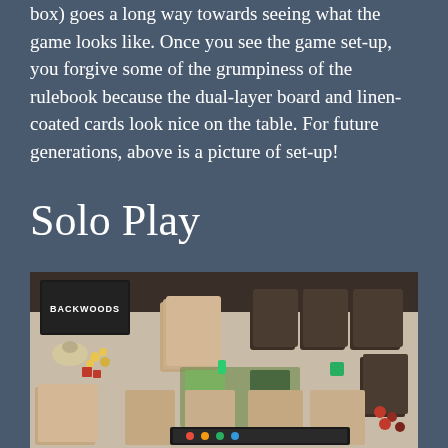box) goes a long way towards seeing what the game looks like. Once you see the game set-up, you forgive some of the grumpiness of the rulebook because the dual-layer board and linen-coated cards look nice on the table. For future generations, above is a picture of set-up!
Solo Play
[Figure (photo): Photo of a board game (Backwoods) set up on a white table, showing cards, tokens, dice, a game board, and the game box in the background.]